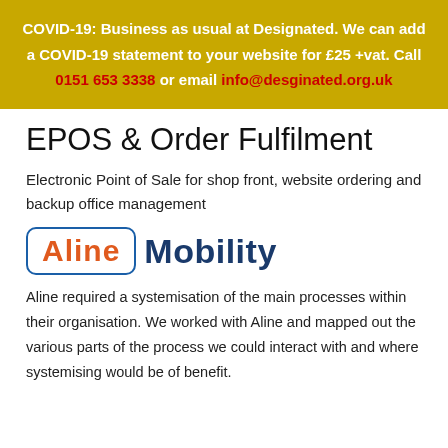COVID-19: Business as usual at Designated. We can add a COVID-19 statement to your website for £25 +vat. Call 0151 653 3338 or email info@desginated.org.uk
EPOS & Order Fulfilment
Electronic Point of Sale for shop front, website ordering and backup office management
[Figure (logo): Aline Mobility logo: 'Aline' in orange text inside a blue rounded rectangle border, followed by 'Mobility' in dark navy bold text]
Aline required a systemisation of the main processes within their organisation. We worked with Aline and mapped out the various parts of the process we could interact with and where systemising would be of benefit.